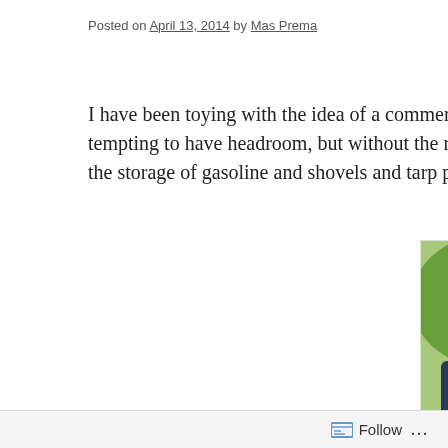Posted on April 13, 2014 by Mas Prema
I have been toying with the idea of a commercial cap on the tru... tempting to have headroom, but without the rack on the top I wo... the storage of gasoline and shovels and tarp poles, and fire woo...
[Figure (photo): A dark blue pickup truck with a large white commercial camper cap/shell in a treed outdoor setting, viewed from the rear quarter angle.]
Mom's Little Run Away
Follow